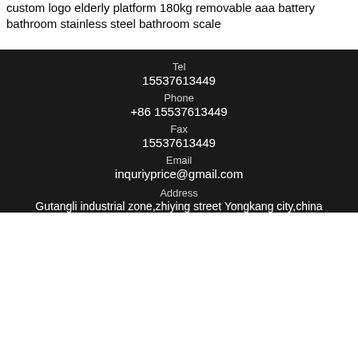custom logo elderly platform 180kg removable aaa battery bathroom stainless steel bathroom scale
Tel
15537613449
Phone
+86 15537613449
Fax
15537613449
Email
inquriyprice@gmail.com
Address
Gutangli industrial zone,zhiying street Yongkang city,china